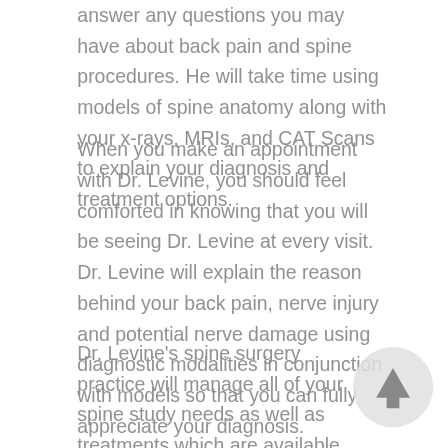answer any questions you may have about back pain and spine procedures. He will take time using models of spine anatomy along with your x-rays, MRIs, and CAT Scans to explain your diagnosis and treatment options.
When you make an appointment with Dr. Levine, you should feel comforted in knowing that you will be seeing Dr. Levine at every visit. Dr. Levine will explain the reason behind your back pain, nerve injury and potential nerve damage using diagnostic modalities in conjunction with models so that you can fully appreciate your diagnosis.
Dr. Levine's spine surgery practice will manage all of your spine study needs as well as treatments which are available under one roof. This unique practice setting allows for seamless care and coordination of your personalized